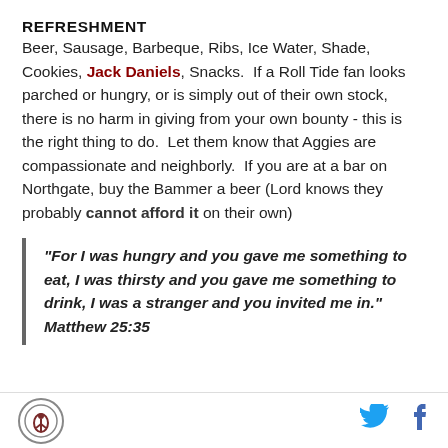REFRESHMENT
Beer, Sausage, Barbeque, Ribs, Ice Water, Shade, Cookies, Jack Daniels, Snacks.  If a Roll Tide fan looks parched or hungry, or is simply out of their own stock, there is no harm in giving from your own bounty - this is the right thing to do.  Let them know that Aggies are compassionate and neighborly.  If you are at a bar on Northgate, buy the Bammer a beer (Lord knows they probably cannot afford it on their own)
"For I was hungry and you gave me something to eat, I was thirsty and you gave me something to drink, I was a stranger and you invited me in." Matthew 25:35
[logo] [twitter] [facebook]